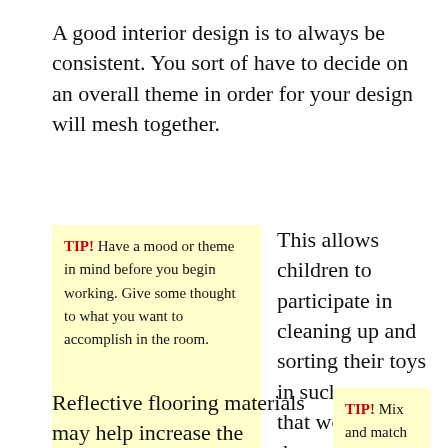A good interior design is to always be consistent. You sort of have to decide on an overall theme in order for your design will mesh together.
TIP! Have a mood or theme in mind before you begin working. Give some thought to what you want to accomplish in the room.
This allows children to participate in cleaning up and sorting their toys in such a way that would suite them. It makes it easier to keep the room nice and organized.
Reflective flooring materials may help increase the
TIP! Mix and match with items that “don’t